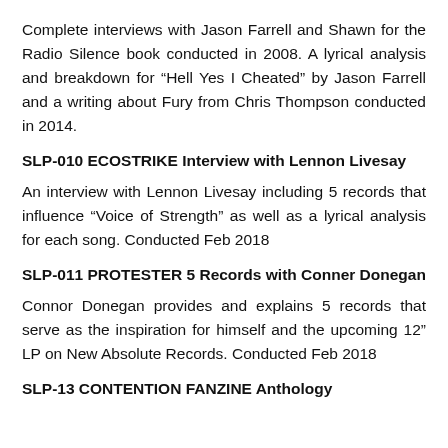Complete interviews with Jason Farrell and Shawn for the Radio Silence book conducted in 2008. A lyrical analysis and breakdown for “Hell Yes I Cheated” by Jason Farrell and a writing about Fury from Chris Thompson conducted in 2014.
SLP-010 ECOSTRIKE Interview with Lennon Livesay
An interview with Lennon Livesay including 5 records that influence “Voice of Strength” as well as a lyrical analysis for each song. Conducted Feb 2018
SLP-011 PROTESTER 5 Records with Conner Donegan
Connor Donegan provides and explains 5 records that serve as the inspiration for himself and the upcoming 12” LP on New Absolute Records. Conducted Feb 2018
SLP-13 CONTENTION FANZINE Anthology